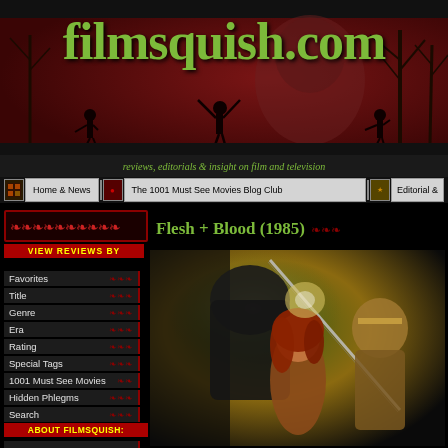[Figure (screenshot): filmsquish.com website header with dark red background, film strip edges, silhouette figures, trees, and a woman's face visible]
filmsquish.com
reviews, editorials & insight on film and television
Home & News | The 1001 Must See Movies Blog Club | Editorial &
Flesh + Blood (1985)
Favorites
Title
Genre
Era
Rating
Special Tags
1001 Must See Movies
Hidden Phlegms
Search
ABOUT FILMSQUISH:
How It Works
[Figure (illustration): Movie poster/illustration for Flesh + Blood (1985) showing a red-haired woman and a warrior with a sword on a dark background]